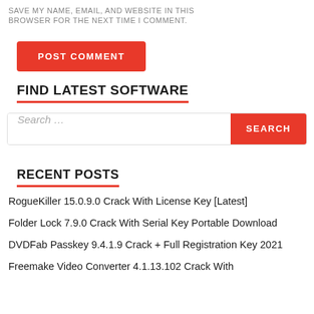SAVE MY NAME, EMAIL, AND WEBSITE IN THIS BROWSER FOR THE NEXT TIME I COMMENT.
POST COMMENT
FIND LATEST SOFTWARE
Search …
RECENT POSTS
RogueKiller 15.0.9.0 Crack With License Key [Latest]
Folder Lock 7.9.0 Crack With Serial Key Portable Download
DVDFab Passkey 9.4.1.9 Crack + Full Registration Key 2021
Freemake Video Converter 4.1.13.102 Crack With